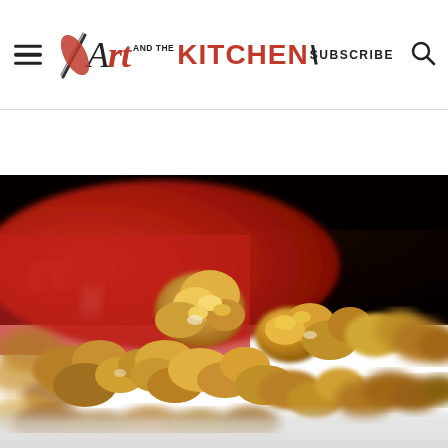Art and the Kitchen — SUBSCRIBE
[Figure (photo): Close-up photo of caramel popcorn in a red bowl/container, with golden caramel-coated popcorn filling the frame against a dark background. The bottom of the image shows a blurred light-colored surface.]